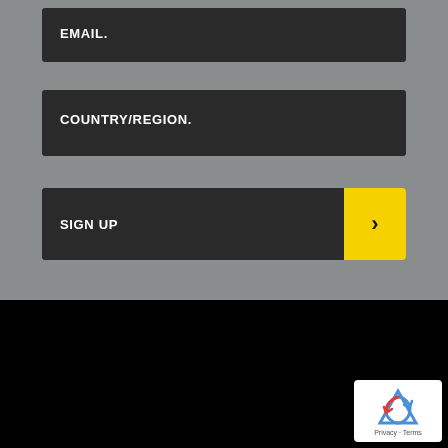EMAIL.
COUNTRY/REGION.
SIGN UP
[Figure (other): USD currency selector with US flag and dropdown chevron]
[Figure (other): Google reCAPTCHA badge with Privacy - Terms text]